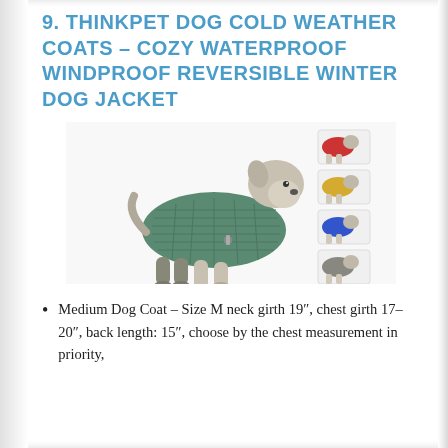9. THINKPET DOG COLD WEATHER COATS – COZY WATERPROOF WINDPROOF REVERSIBLE WINTER DOG JACKET
[Figure (photo): A dog wearing a green quilted winter coat/jacket, shown in profile view. To the right are thumbnail images showing the same coat in different colors: red/black, yellow/black, blue/red, gray/brown, and purple.]
Medium Dog Coat – Size M neck girth 19″, chest girth 17–20″, back length: 15″, choose by the chest measurement in priority,